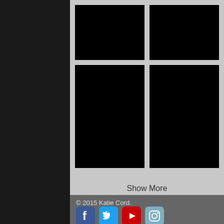[Figure (photo): Four black image placeholders arranged in a 2x2 grid on a light gray background]
Show More
© 2015 Katie Cord.
[Figure (illustration): Social media icons: Facebook (blue), Twitter (blue), YouTube (red), Instagram (gray-blue)]